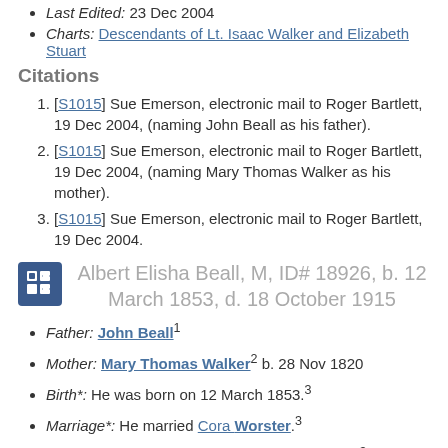Last Edited: 23 Dec 2004
Charts: Descendants of Lt. Isaac Walker and Elizabeth Stuart
Citations
[S1015] Sue Emerson, electronic mail to Roger Bartlett, 19 Dec 2004, (naming John Beall as his father).
[S1015] Sue Emerson, electronic mail to Roger Bartlett, 19 Dec 2004, (naming Mary Thomas Walker as his mother).
[S1015] Sue Emerson, electronic mail to Roger Bartlett, 19 Dec 2004.
Albert Elisha Beall, M, ID# 18926, b. 12 March 1853, d. 18 October 1915
Father: John Beall¹
Mother: Mary Thomas Walker² b. 28 Nov 1820
Birth*: He was born on 12 March 1853.³
Marriage*: He married Cora Worster.³
Death*: He died on 18 October 1915 at age 62.³